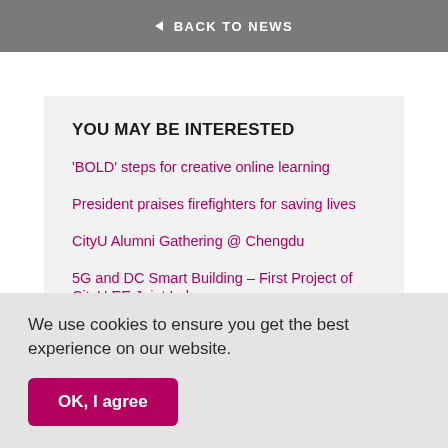◁ BACK TO NEWS
YOU MAY BE INTERESTED
'BOLD' steps for creative online learning
President praises firefighters for saving lives
CityU Alumni Gathering @ Chengdu
5G and DC Smart Building – First Project of CityU EE Joint Lab
We use cookies to ensure you get the best experience on our website.
OK, I agree